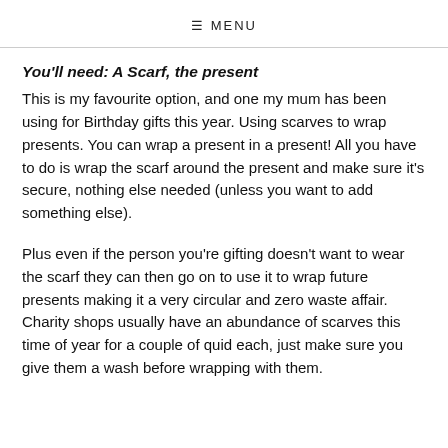≡ MENU
You'll need: A Scarf, the present
This is my favourite option, and one my mum has been using for Birthday gifts this year. Using scarves to wrap presents. You can wrap a present in a present! All you have to do is wrap the scarf around the present and make sure it's secure, nothing else needed (unless you want to add something else).
Plus even if the person you're gifting doesn't want to wear the scarf they can then go on to use it to wrap future presents making it a very circular and zero waste affair. Charity shops usually have an abundance of scarves this time of year for a couple of quid each, just make sure you give them a wash before wrapping with them.